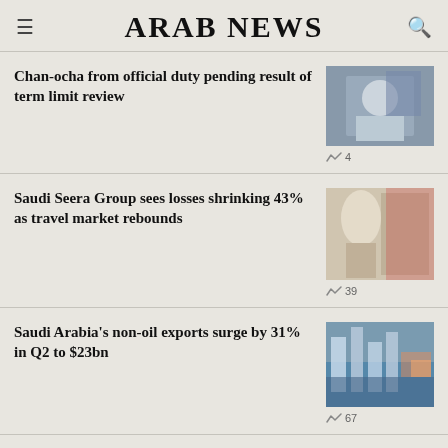ARAB NEWS
Chan-ocha from official duty pending result of term limit review
4
Saudi Seera Group sees losses shrinking 43% as travel market rebounds
39
Saudi Arabia's non-oil exports surge by 31% in Q2 to $23bn
67
Saudi food giant Savola's revenue hits $3.8bn buoyed by food processing unit